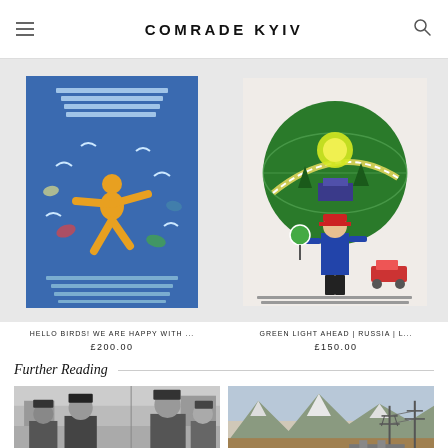COMRADE KYIV
[Figure (photo): Blue Soviet-style poster featuring a golden figure with birds, titled 'Hello birds! We are happy with...']
HELLO BIRDS! WE ARE HAPPY WITH ...
£200.00
[Figure (photo): Soviet-era illustration with a green circular globe design and a girl in uniform holding a signal disk, 'Green Light Ahead | Russia | ...']
GREEN LIGHT AHEAD | RUSSIA | L...
£150.00
Further Reading
[Figure (photo): Black and white historical photograph of men in military coats, likely Soviet-era leaders]
[Figure (photo): Color photograph of snow-capped mountains with electrical pylons and infrastructure in the foreground]